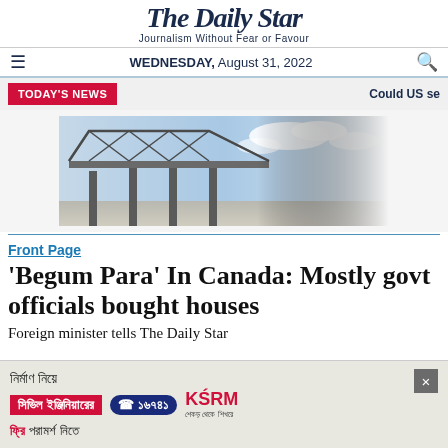The Daily Star — Journalism Without Fear or Favour — WEDNESDAY, August 31, 2022
TODAY'S NEWS | Could US se
[Figure (photo): Bridge structure over water with blue sky and clouds — appears to be a large rail or road bridge]
Front Page
'Begum Para' In Canada: Mostly govt officials bought houses
Foreign minister tells The Daily Star
[Figure (infographic): Advertisement banner: 'নির্মাণ নিয়ে সিভিল ইঞ্জিনিয়ারের ☎ ১৬৭৪১ KSRM ফ্রি পরামর্শ নিতে' — close button (×) in top right]